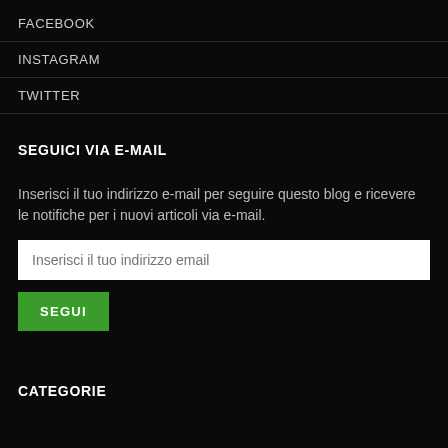FACEBOOK
INSTAGRAM
TWITTER
SEGUICI VIA E-MAIL
Inserisci il tuo indirizzo e-mail per seguire questo blog e ricevere le notifiche per i nuovi articoli via e-mail.
Inserisci il tuo indirizzo email
SEGUI
CATEGORIE
che fine hanno fatto (10)